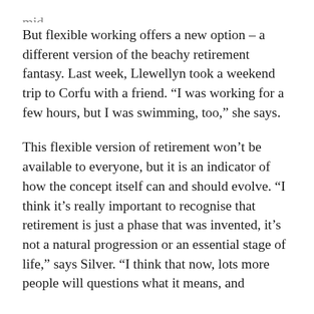But flexible working offers a new option – a different version of the beachy retirement fantasy. Last week, Llewellyn took a weekend trip to Corfu with a friend. “I was working for a few hours, but I was swimming, too,” she says.
This flexible version of retirement won’t be available to everyone, but it is an indicator of how the concept itself can and should evolve. “I think it’s really important to recognise that retirement is just a phase that was invented, it’s not a natural progression or an essential stage of life,” says Silver. “I think that now, lots more people will questions what it means, and